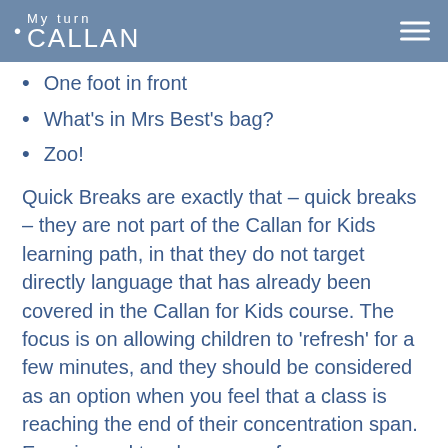My turn / CALLAN
One foot in front
What's in Mrs Best's bag?
Zoo!
Quick Breaks are exactly that – quick breaks – they are not part of the Callan for Kids learning path, in that they do not target directly language that has already been covered in the Callan for Kids course. The focus is on allowing children to 'refresh' for a few minutes, and they should be considered as an option when you feel that a class is reaching the end of their concentration span.  Experienced teachers can, of course, use any activity they like to give a class a quick break, but we hope that our ideas are simple, useful and enjoyable. All of them are repeatable, and almost all can be easily adapted to focus on different language areas.